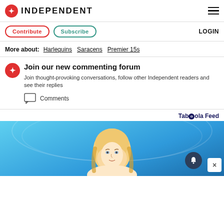INDEPENDENT
Contribute  Subscribe  LOGIN
More about: Harlequins  Saracens  Premier 15s
Join our new commenting forum
Join thought-provoking conversations, follow other Independent readers and see their replies
Comments
Taboola Feed
[Figure (photo): Advertisement image showing a blonde woman against a teal/blue background with notification and close buttons overlaid]